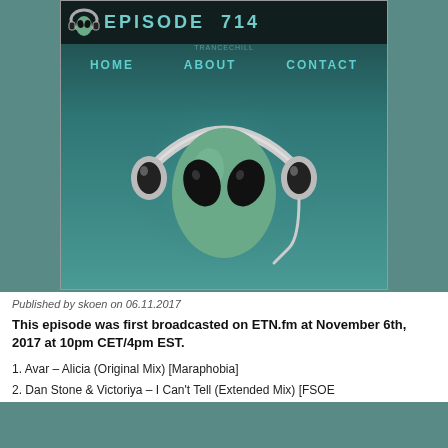[Figure (screenshot): Screenshot of a website showing 'TRANCECHILLL EPISODE 714' with an alien head wearing headphones logo, navigation bar with HOME, ABOUT, CONTACT links, on a teal/dark background]
Published by skoen on 06.11.2017
This episode was first broadcasted on ETN.fm at November 6th, 2017 at 10pm CET/4pm EST.
1. Avar – Alicia (Original Mix) [Maraphobia]
2. Dan Stone & Victoriya – I Can't Tell (Extended Mix) [FSOE